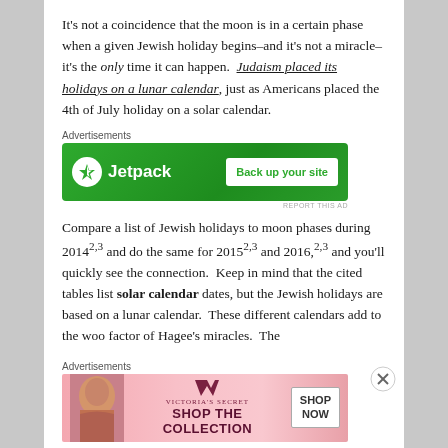It's not a coincidence that the moon is in a certain phase when a given Jewish holiday begins–and it's not a miracle–it's the only time it can happen. Judaism placed its holidays on a lunar calendar, just as Americans placed the 4th of July holiday on a solar calendar.
[Figure (other): Jetpack advertisement banner with green background, circle lightning bolt logo, Jetpack name, and 'Back up your site' button]
Compare a list of Jewish holidays to moon phases during 2014^2,3 and do the same for 2015^2,3 and 2016,^2,3 and you'll quickly see the connection. Keep in mind that the cited tables list solar calendar dates, but the Jewish holidays are based on a lunar calendar. These different calendars add to the woo factor of Hagee's miracles. The
[Figure (other): Victoria's Secret advertisement banner with pink background, model photo, VS logo, 'SHOP THE COLLECTION' text, and 'SHOP NOW' button]